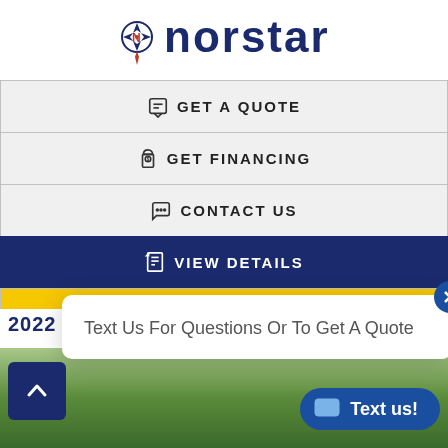[Figure (logo): Norstar company logo with compass star icon and stylized text]
GET A QUOTE
GET FINANCING
CONTACT US
VIEW DETAILS
COMPARE
Text Us For Questions Or To Get A Quote
2022 NO... TRAILER